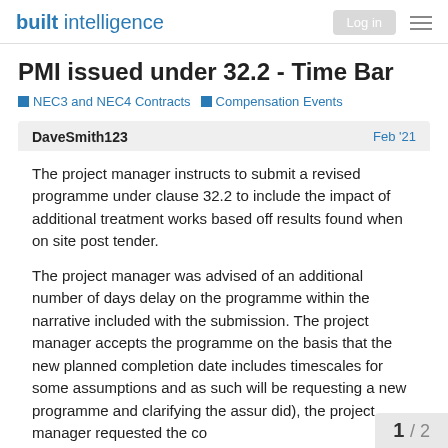built intelligence
PMI issued under 32.2 - Time Bar
NEC3 and NEC4 Contracts   Compensation Events
DaveSmith123   Feb '21
The project manager instructs to submit a revised programme under clause 32.2 to include the impact of additional treatment works based off results found when on site post tender.
The project manager was advised of an additional number of days delay on the programme within the narrative included with the submission. The project manager accepts the programme on the basis that the new planned completion date includes timescales for some assumptions and as such will be requesting a new programme and clarifying the assur did), the project manager requested the co
1 / 2